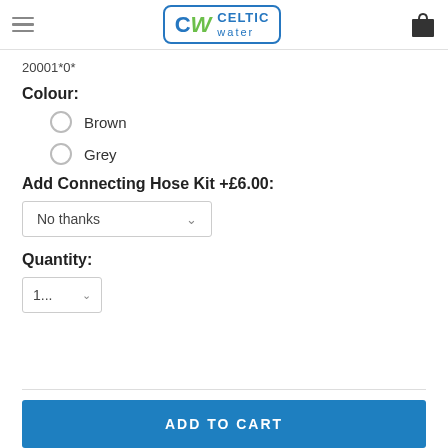Celtic Water — navigation header with logo and cart icon
20001*0*
Colour:
Brown
Grey
Add Connecting Hose Kit +£6.00:
No thanks
Quantity:
1...
ADD TO CART